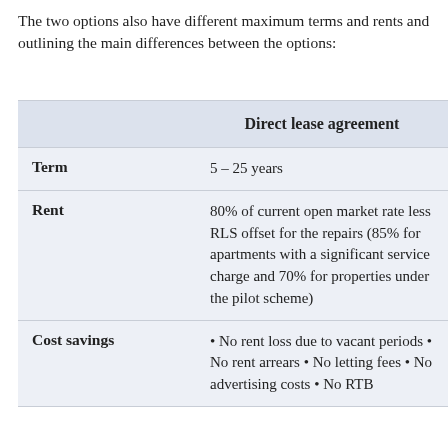The two options also have different maximum terms and rents and outlining the main differences between the options:
|  | Direct lease agreement |
| --- | --- |
| Term | 5 – 25 years |
| Rent | 80% of current open market rate less RLS offset for the repairs (85% for apartments with a significant service charge and 70% for properties under the pilot scheme) |
| Cost savings | • No rent loss due to vacant periods • No rent arrears • No letting fees • No advertising costs • No RTB |